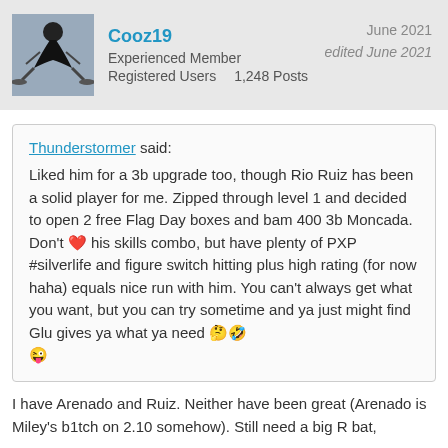Cooz19 | Experienced Member | Registered Users | 1,248 Posts | June 2021 | edited June 2021
Thunderstormer said: Liked him for a 3b upgrade too, though Rio Ruiz has been a solid player for me. Zipped through level 1 and decided to open 2 free Flag Day boxes and bam 400 3b Moncada. Don't ❤ his skills combo, but have plenty of PXP #silverlife and figure switch hitting plus high rating (for now haha) equals nice run with him. You can't always get what you want, but you can try sometime and ya just might find Glu gives ya what ya need 🤔🤣😜
I have Arenado and Ruiz. Neither have been great (Arenado is Miley's b1tch on 2.10 somehow). Still need a big R bat,